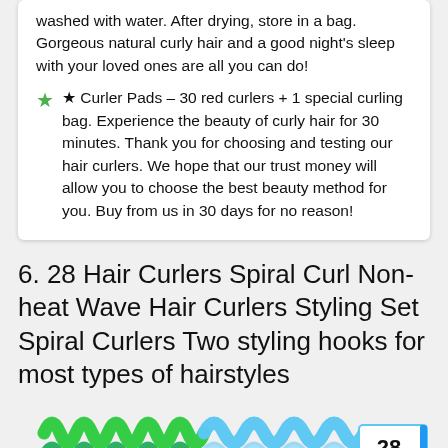washed with water. After drying, store in a bag. Gorgeous natural curly hair and a good night's sleep with your loved ones are all you can do!
★ Curler Pads – 30 red curlers + 1 special curling bag. Experience the beauty of curly hair for 30 minutes. Thank you for choosing and testing our hair curlers. We hope that our trust money will allow you to choose the best beauty method for you. Buy from us in 30 days for no reason!
6. 28 Hair Curlers Spiral Curl Non-heat Wave Hair Curlers Styling Set Spiral Curlers Two styling hooks for most types of hairstyles
[Figure (photo): Product image showing green and blue/white spiral hair curlers with a label reading '28 Pieces']